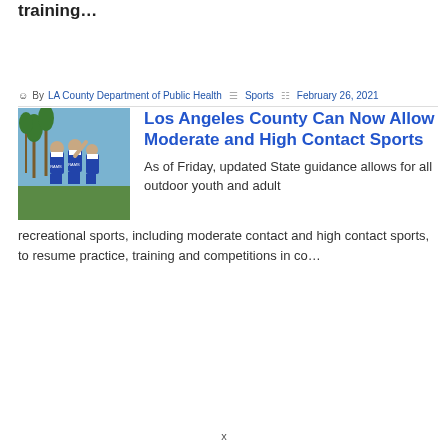… and 4 youths, aged 12–17, who have been training…
By LA County Department of Public Health  Sports  February 26, 2021
[Figure (photo): Football players in blue and white uniforms on a field with palm trees in background]
Los Angeles County Can Now Allow Moderate and High Contact Sports
As of Friday, updated State guidance allows for all outdoor youth and adult recreational sports, including moderate contact and high contact sports, to resume practice, training and competitions in co…